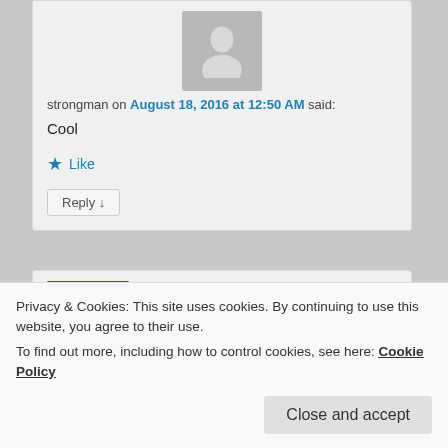[Figure (illustration): Default user avatar placeholder icon (grey silhouette of a person on grey background)]
strongman on August 18, 2016 at 12:50 AM said:
Cool
★ Like
Reply ↓
[Figure (photo): Small photo of a person with dark curly hair and glasses]
Privacy & Cookies: This site uses cookies. By continuing to use this website, you agree to their use.
To find out more, including how to control cookies, see here: Cookie Policy
Close and accept
“In a dry fast, the body does not eliminate toxins in